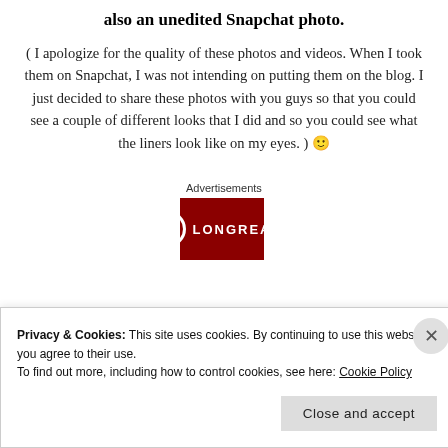also an unedited Snapchat photo.
( I apologize for the quality of these photos and videos. When I took them on Snapchat, I was not intending on putting them on the blog. I just decided to share these photos with you guys so that you could see a couple of different looks that I did and so you could see what the liners look like on my eyes. ) 🙂
Advertisements
[Figure (other): Red advertisement banner with a circular logo and the text LONGREADS]
Privacy & Cookies: This site uses cookies. By continuing to use this website, you agree to their use.
To find out more, including how to control cookies, see here: Cookie Policy